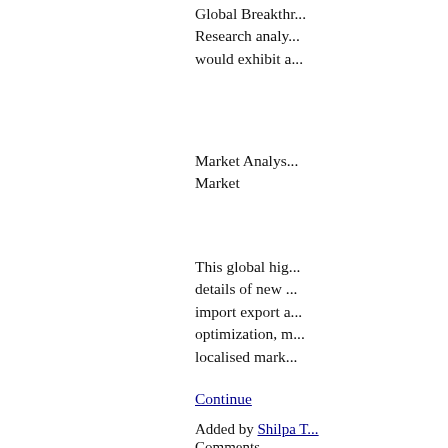Global Breakthr... Research analy... would exhibit a...
Market Analys... Market
This global hig... details of new ... import export a... optimization, m... localised mark...
Continue
Added by Shilpa T... Comments
Global Soy... Scope, gro...